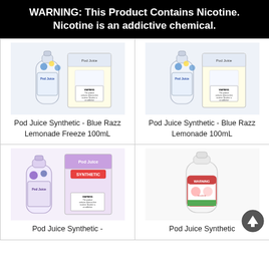WARNING: This Product Contains Nicotine. Nicotine is an addictive chemical.
[Figure (photo): Pod Juice Synthetic Blue Razz Lemonade Freeze 100mL bottle and box]
Pod Juice Synthetic - Blue Razz Lemonade Freeze 100mL
[Figure (photo): Pod Juice Synthetic Blue Razz Lemonade 100mL bottle and box]
Pod Juice Synthetic - Blue Razz Lemonade 100mL
[Figure (photo): Pod Juice Synthetic bottle and box with purple label]
Pod Juice Synthetic -
[Figure (photo): Pod Juice Synthetic small bottle with red/green label]
Pod Juice Synthetic